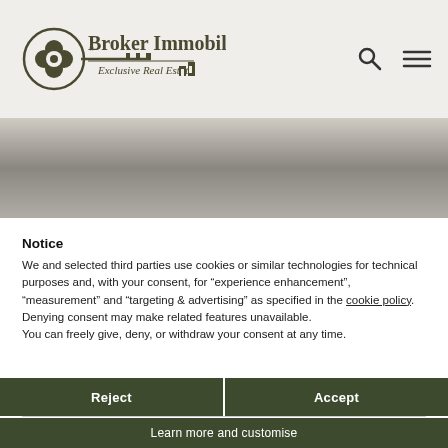[Figure (logo): Broker Immobiliare Exclusive Real Estate logo with key icon and building icon]
[Figure (photo): Blurred/faded gray image area representing a real estate hero image]
Notice
We and selected third parties use cookies or similar technologies for technical purposes and, with your consent, for “experience enhancement”, “measurement” and “targeting & advertising” as specified in the cookie policy. Denying consent may make related features unavailable.
You can freely give, deny, or withdraw your consent at any time.
Reject
Accept
Learn more and customise